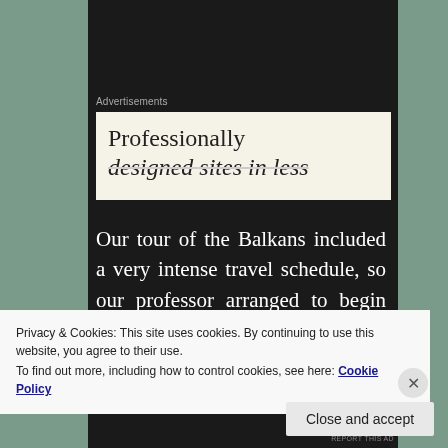Advertisements
[Figure (screenshot): Advertisement banner with cream background showing text 'Professionally designed sites in less']
Our tour of the Balkans included a very intense travel schedule, so our professor arranged to begin the trip
Privacy & Cookies: This site uses cookies. By continuing to use this website, you agree to their use.
To find out more, including how to control cookies, see here: Cookie Policy
Close and accept